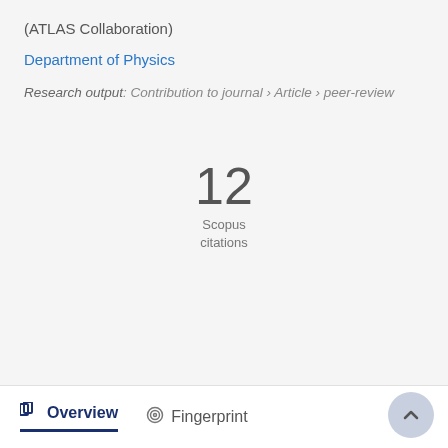(ATLAS Collaboration)
Department of Physics
Research output: Contribution to journal › Article › peer-review
12
Scopus
citations
Overview   Fingerprint